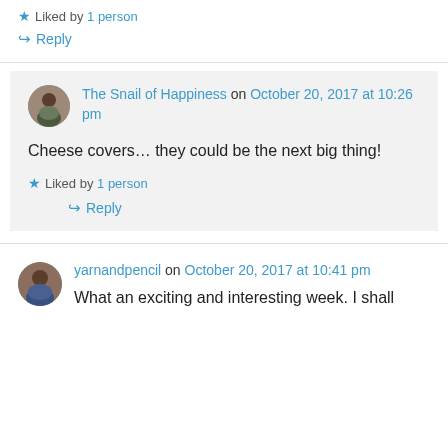★ Liked by 1 person
↪ Reply
The Snail of Happiness on October 20, 2017 at 10:26 pm
Cheese covers… they could be the next big thing!
★ Liked by 1 person
↪ Reply
yarnandpencil on October 20, 2017 at 10:41 pm
What an exciting and interesting week. I shall